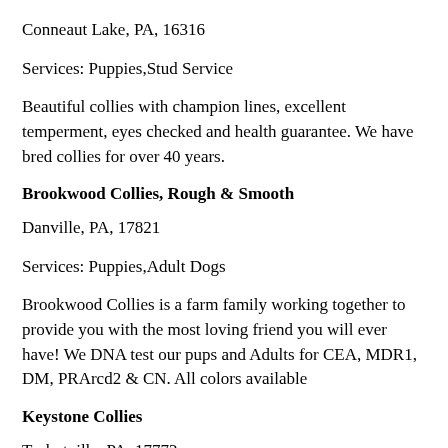Conneaut Lake, PA, 16316
Services: Puppies,Stud Service
Beautiful collies with champion lines, excellent temperment, eyes checked and health guarantee. We have bred collies for over 40 years.
Brookwood Collies, Rough & Smooth
Danville, PA, 17821
Services: Puppies,Adult Dogs
Brookwood Collies is a farm family working together to provide you with the most loving friend you will ever have! We DNA test our pups and Adults for CEA, MDR1, DM, PRArcd2 & CN. All colors available
Keystone Collies
Turbotville, PA, 17772
Services: Puppies,Adult Dogs,Stud Service